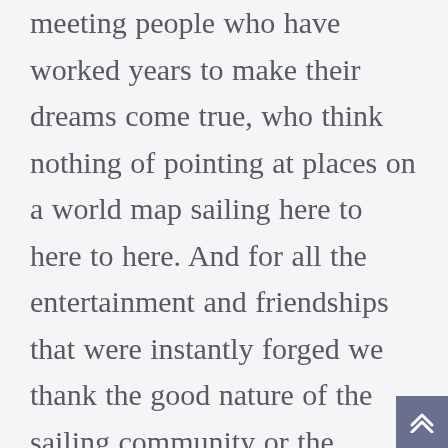meeting people who have worked years to make their dreams come true, who think nothing of pointing at places on a world map sailing here to here to here. And for all the entertainment and friendships that were instantly forged we thank the good nature of the sailing community or the floating village that mills around at about 5 knots on a good day. One thing proved true; for great friends and a good time take a boat, a few people and add a little water. And uh, what's that, can't hear you? A little rum? What do you mean a little! Cheers to the wonderful people we met from the UK, Germany, France, Brazil, Spain, Denmark, Ireland, USA, Italy, the Canaries, South Africa, Portugal, the Azores, Chile, Australia, New Zealand